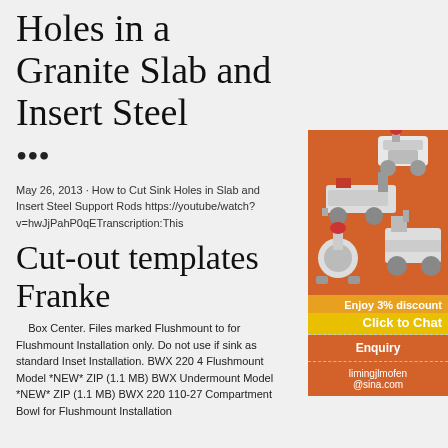Holes in a Granite Slab and Insert Steel
•••
May 26, 2013 · How to Cut Sink Holes in Slab and Insert Steel Support Rods https://youtube/watch?v=hwJjPahP0qETranscription:This
[Figure (illustration): Advertisement banner showing industrial mining/crushing machinery on orange background with 'Enjoy 3% discount', 'Click to Chat', 'Enquiry', and 'limingjlmofen@sina.com' text]
Cut-out templates Franke
Box Center. Files marked Flushmount to for Flushmount Installation only. Do not use if sink as standard Inset Installation. BWX 220 4 Flushmount Model *NEW* ZIP (1.1 MB) BWX Undermount Model *NEW* ZIP (1.1 MB) BWX 220 110-27 Compartment Bowl for Flushmount Installation